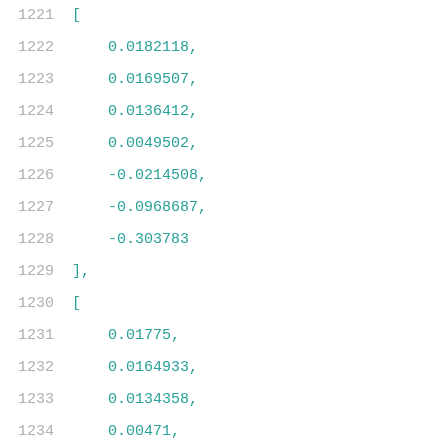1221  [
1222    0.0182118,
1223    0.0169507,
1224    0.0136412,
1225    0.0049502,
1226    -0.0214508,
1227    -0.0968687,
1228    -0.303783
1229  ],
1230  [
1231    0.01775,
1232    0.0164933,
1233    0.0134358,
1234    0.00471,
1235    -0.0221174,
1236    -0.0974292,
1237    -0.304113
1238  ],
1239  [
1240    0.0183069,
1241    0.0170154,
1242    0.013362,